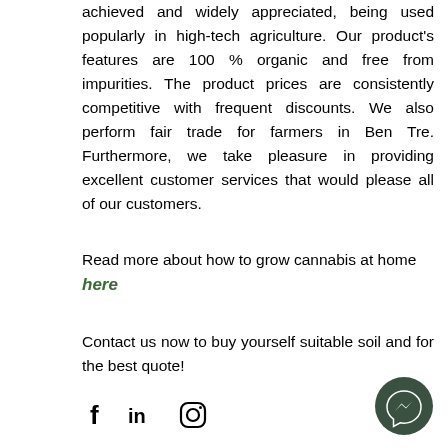achieved and widely appreciated, being used popularly in high-tech agriculture. Our product's features are 100 % organic and free from impurities. The product prices are consistently competitive with frequent discounts. We also perform fair trade for farmers in Ben Tre. Furthermore, we take pleasure in providing excellent customer services that would please all of our customers.
Read more about how to grow cannabis at home here
Contact us now to buy yourself suitable soil and for the best quote!
[Figure (infographic): Social media icons: Facebook (f), LinkedIn (in), Instagram (camera icon)]
[Figure (logo): Messenger chat button icon (dark green circle with lightning bolt/messenger logo)]